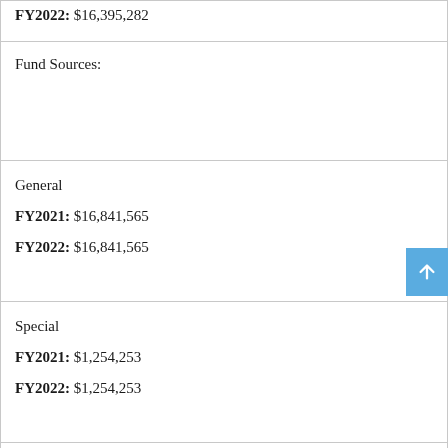| FY2022: $16,395,282 |
| Fund Sources: |
| General
FY2021: $16,841,565
FY2022: $16,841,565 |
| Special
FY2021: $1,254,253
FY2022: $1,254,253 |
| Trust and Agency
FY2021: $190,000
FY2022: $190,000 |